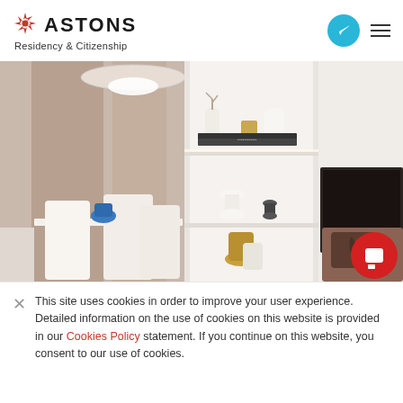ASTONS Residency & Citizenship
[Figure (photo): Interior photo of a modern apartment showing a dining area with white chairs and a blue vase on the left, a white shelving unit with decorative objects (hourglass, vases, books) in the center, and a corner with a dark framed artwork/TV and brown sofa cushion on the right. A pendant light hangs from the ceiling with mauve/taupe curtains in the background.]
This site uses cookies in order to improve your user experience. Detailed information on the use of cookies on this website is provided in our Cookies Policy statement. If you continue on this website, you consent to our use of cookies.